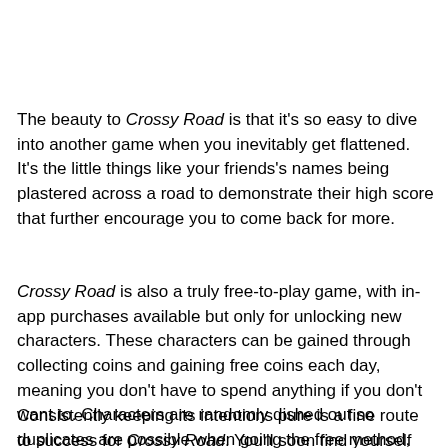The beauty to Crossy Road is that it's so easy to dive into another game when you inevitably get flattened. It's the little things like your friends's names being plastered across a road to demonstrate their high score that further encourage you to come back for more.
Crossy Road is also a truly free-to-play game, with in-app purchases available but only for unlocking new characters. These characters can be gained through collecting coins and gaining free coins each day, meaning you don't have to spend anything if you don't want to. Characters are randomly dished out so duplicates are possible when going the free method, but it's a small price to pay. And yes, there are frogs to unlock here, among other cool faces.
Consistently keeping its intentions pure is a fine route to success for Crossy Road. You'll soon find yourself itching for 'just one more go'. It's